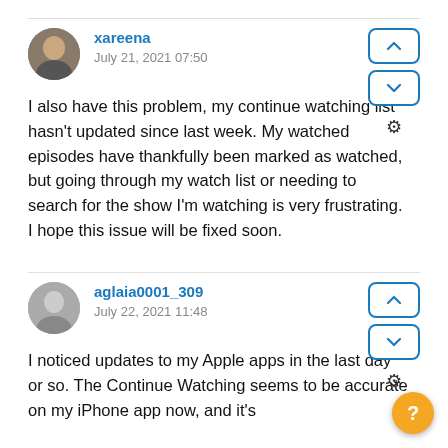xareena
July 21, 2021 07:50
I also have this problem, my continue watching list hasn't updated since last week. My watched episodes have thankfully been marked as watched, but going through my watch list or needing to search for the show I'm watching is very frustrating. I hope this issue will be fixed soon.
aglaia0001_309
July 22, 2021 11:48
I noticed updates to my Apple apps in the last day or so. The Continue Watching seems to be accurate on my iPhone app now, and it's